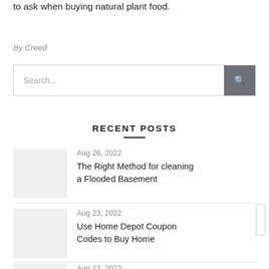to ask when buying natural plant food.
By Creed
Search...
RECENT POSTS
Aug 26, 2022
The Right Method for cleaning a Flooded Basement
Aug 23, 2022
Use Home Depot Coupon Codes to Buy Home
Aug 13, 2022